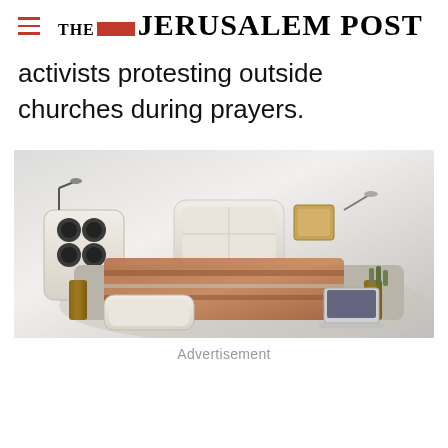THE JERUSALEM POST
activists protesting outside churches during prayers.
[Figure (photo): Advertisement image showing a luxury multi-functional bed/sofa with cream leather upholstery, speakers, massage components, wooden accents, and a laptop — a high-end furniture product advertisement.]
Advertisement